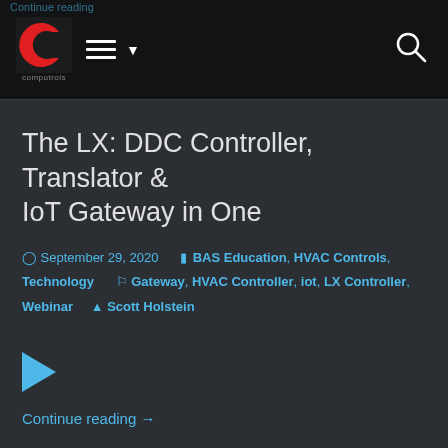Computrols navigation bar with logo, hamburger menu, and search icon
The LX: DDC Controller, Translator & IoT Gateway in One
September 29, 2020   BAS Education, HVAC Controls, Technology   Gateway, HVAC Controller, iot, LX Controller, Webinar   Scott Holstein
[Figure (other): Blue play button triangle icon]
Continue reading →